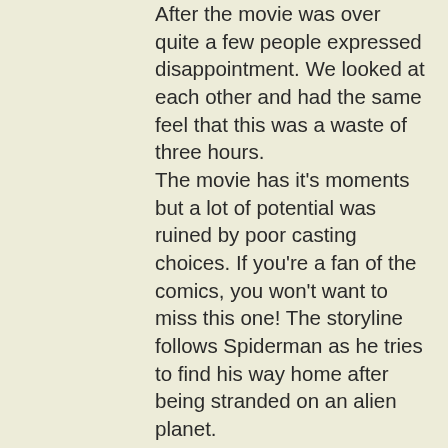After the movie was over quite a few people expressed disappointment. We looked at each other and had the same feel that this was a waste of three hours. The movie has it's moments but a lot of potential was ruined by poor casting choices. If you're a fan of the comics, you won't want to miss this one! The storyline follows Spiderman as he tries to find his way home after being stranded on an alien planet. Fantastic Beasts: The Secrets of Dumbledore is definitely a Spiderman movie you don't want to miss with stunning visuals and an action-packed plot! Plus, Fantastic Beasts: The Secrets of Dumbledore online streaming is available on our website. Fantastic Beasts: The Secrets of Dumbledore online free, which includes streaming options such as 123movies, Reddit, or TV shows from HBO Max or Netflix! Until You Can Stream 'Fantastic Beasts: The